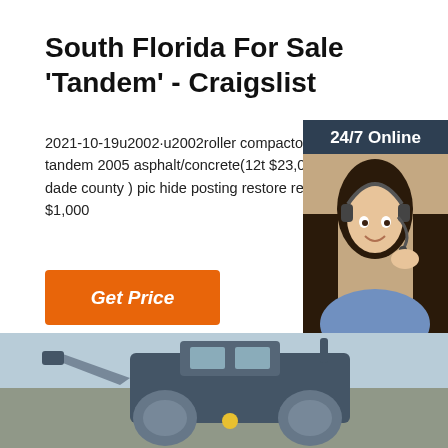South Florida For Sale 'Tandem' - Craigslist
2021-10-19u2002·u2002roller compactor bom bw190ad-4 tandem 2005 asphalt/concrete(12t $23,000 (DORAL miami dade county ) pic hide posting restore restore this posting $1,000
[Figure (infographic): Orange 'Get Price' button (italic text)]
[Figure (infographic): Side panel advertisement with '24/7 Online' header, woman with headset photo, 'Click here for free chat!' text, and orange 'QUOTATION' button]
[Figure (photo): Partial photo of heavy construction equipment / roller compactor at bottom of page]